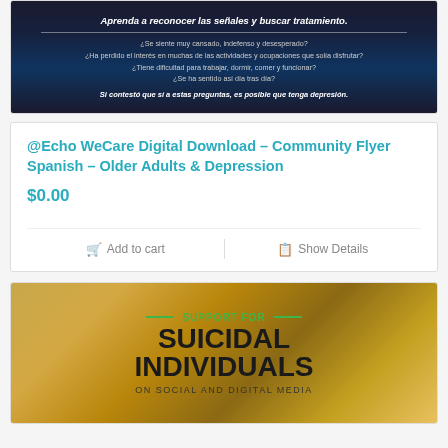[Figure (illustration): Dark blue/navy background flyer image in Spanish about depression in older adults with text questions about symptoms]
@Echo WeCare Digital Download – Community Flyer Spanish – Older Adults & Depression
$0.00
Add to cart   |   Show Details
[Figure (illustration): Warm golden forest background image with text: SUPPORT FOR SUICIDAL INDIVIDUALS ON SOCIAL AND DIGITAL MEDIA]